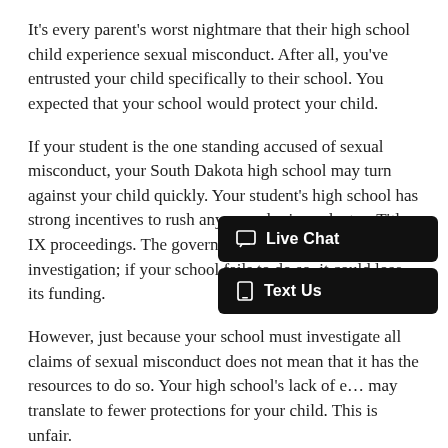It's every parent's worst nightmare that their high school child experience sexual misconduct. After all, you've entrusted your child specifically to their school. You expected that your school would protect your child.
If your student is the one standing accused of sexual misconduct, your South Dakota high school may turn against your child quickly. Your student's high school has strong incentives to rush any sexual misconduct or Title IX proceedings. The government requires swift investigation; if your school fails to do so, it could lose its funding.
However, just because your school must investigate all claims of sexual misconduct does not mean that it has the resources to do so. Your high school's lack of e… may translate to fewer protections for your child. This is unfair.
If your child faces unwarranted sexual misconduct allegations, it may be up to you to protect your child's rights. Working with an experienced Title IX la…